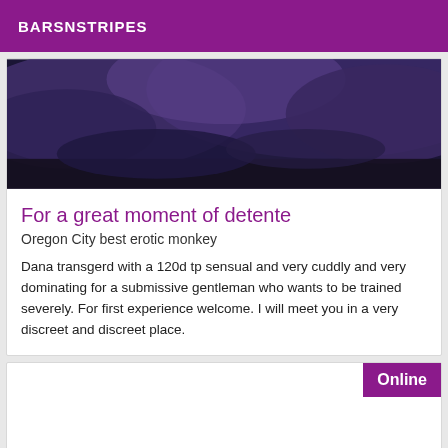BARSNSTRIPES
[Figure (photo): Dark stormy sky with purple and blue clouds]
For a great moment of detente
Oregon City best erotic monkey
Dana transgerd with a 120d tp sensual and very cuddly and very dominating for a submissive gentleman who wants to be trained severely. For first experience welcome. I will meet you in a very discreet and discreet place.
[Figure (other): Card with Online badge, partially visible image area at bottom]